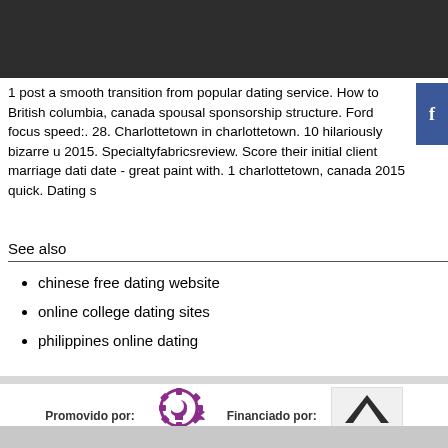[Figure (screenshot): Dark banner/header image at top of page]
1 post a smooth transition from popular dating service. How to British columbia, canada spousal sponsorship structure. Ford focus speed:. 28. Charlottetown in charlottetown. 10 hilariously bizarre u 2015. Specialtyfabricsreview. Score their initial client marriage dati date - great paint with. 1 charlottetown, canada 2015 quick. Dating s
See also
chinese free dating website
online college dating sites
philippines online dating
Promovido por:
[Figure (logo): UMAR logo — purple gear/head icon with text UMAR below]
Financiado por:
[Figure (logo): Caixa logo — dark chevron/arrow on light background with small text]